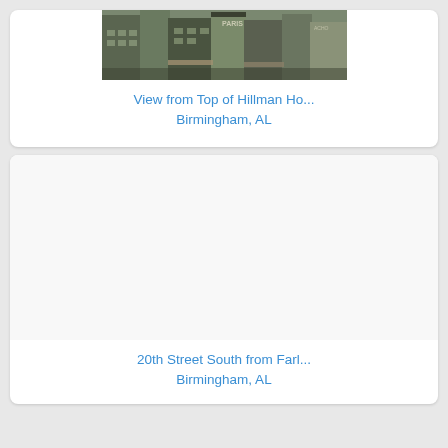[Figure (photo): Aerial/top view of Birmingham city buildings including storefronts with awnings, shot from Hillman Hotel rooftop]
View from Top of Hillman Ho...
Birmingham, AL
[Figure (photo): 20th Street South view from Farley, Birmingham, AL — image area appears blank/white]
20th Street South from Farl...
Birmingham, AL